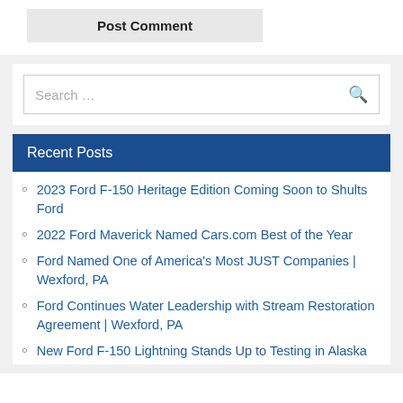Post Comment
[Figure (screenshot): Search input box with placeholder text 'Search ...' and a magnifying glass icon on the right]
Recent Posts
2023 Ford F-150 Heritage Edition Coming Soon to Shults Ford
2022 Ford Maverick Named Cars.com Best of the Year
Ford Named One of America's Most JUST Companies | Wexford, PA
Ford Continues Water Leadership with Stream Restoration Agreement | Wexford, PA
New Ford F-150 Lightning Stands Up to Testing in Alaska